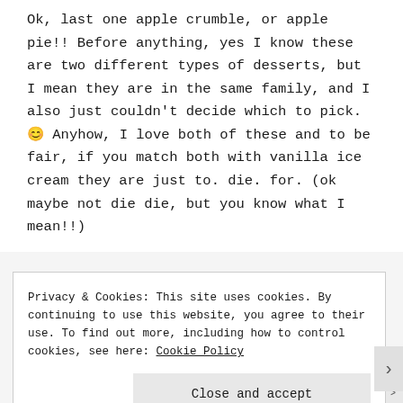Ok, last one apple crumble, or apple pie!! Before anything, yes I know these are two different types of desserts, but I mean they are in the same family, and I also just couldn't decide which to pick. 😊 Anyhow, I love both of these and to be fair, if you match both with vanilla ice cream they are just to. die. for. (ok maybe not die die, but you know what I mean!!)
Privacy & Cookies: This site uses cookies. By continuing to use this website, you agree to their use.
To find out more, including how to control cookies, see here: Cookie Policy